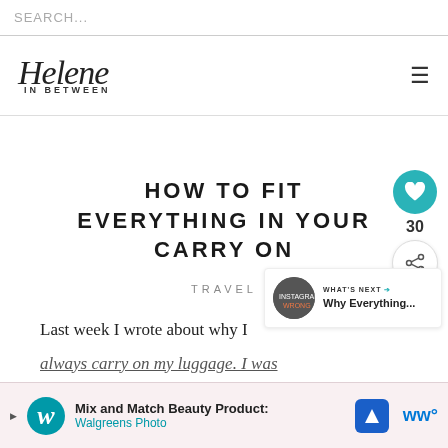SEARCH...
[Figure (logo): Helene In Between blog logo - cursive Helene text with IN BETWEEN in small caps below]
HOW TO FIT EVERYTHING IN YOUR CARRY ON
TRAVEL
Last week I wrote about why I
always carry on my luggage. I was
[Figure (infographic): What's Next panel showing Instagram thumbnail and title Why Everything...]
Mix and Match Beauty Products: Walgreens Photo advertisement